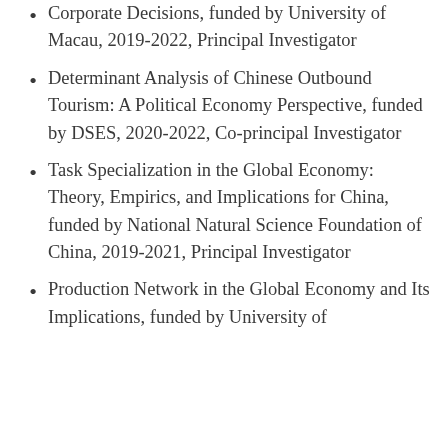Corporate Decisions, funded by University of Macau, 2019-2022, Principal Investigator
Determinant Analysis of Chinese Outbound Tourism: A Political Economy Perspective, funded by DSES, 2020-2022, Co-principal Investigator
Task Specialization in the Global Economy: Theory, Empirics, and Implications for China, funded by National Natural Science Foundation of China, 2019-2021, Principal Investigator
Production Network in the Global Economy and Its Implications, funded by University of